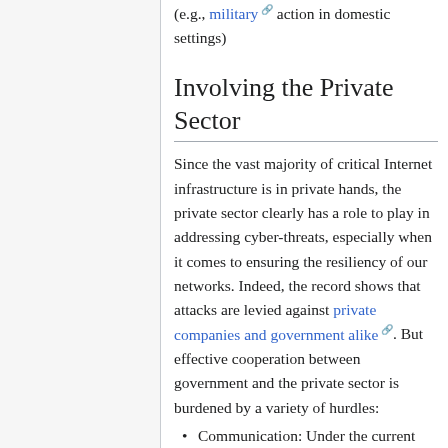(e.g., military action in domestic settings)
Involving the Private Sector
Since the vast majority of critical Internet infrastructure is in private hands, the private sector clearly has a role to play in addressing cyber-threats, especially when it comes to ensuring the resiliency of our networks. Indeed, the record shows that attacks are levied against private companies and government alike. But effective cooperation between government and the private sector is burdened by a variety of hurdles:
Communication: Under the current